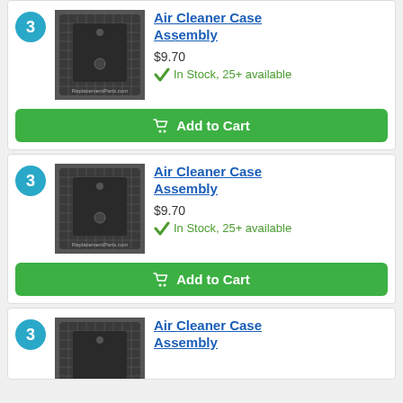[Figure (photo): Air cleaner case assembly part photo, black plastic grid-pattern housing, item 3]
Air Cleaner Case Assembly
$9.70
In Stock, 25+ available
Add to Cart
[Figure (photo): Air cleaner case assembly part photo, black plastic grid-pattern housing, item 3]
Air Cleaner Case Assembly
$9.70
In Stock, 25+ available
Add to Cart
[Figure (photo): Air cleaner case assembly part photo, black plastic grid-pattern housing, item 3 (partial)]
Air Cleaner Case Assembly